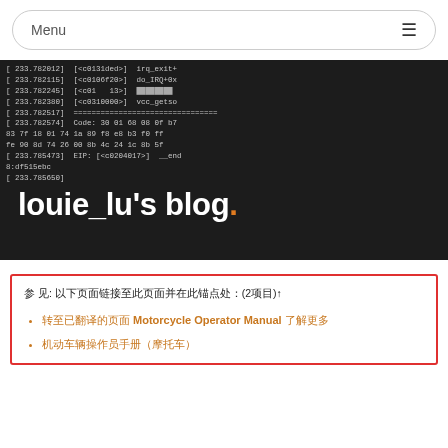Menu
[Figure (screenshot): Terminal/console screenshot showing kernel debug output with hex addresses, IRQ exits, code dumps, and EIP values on a dark background]
louie_lu's blog.
参 见: 以下页面链接至此页面并在此锚点处：(2项目)↑
转至已翻译的页面 Motorcycle Operator Manual 了解更多
机动车辆操作员手册（摩托车）